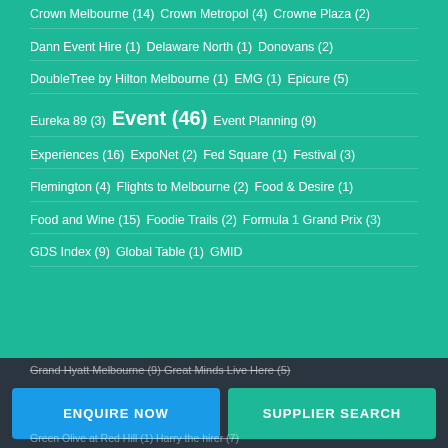Crown Melbourne (14)  Crown Metropol (4)  Crowne Plaza (2)
Dann Event Hire (1)  Delaware North (1)  Donovans (2)
DoubleTree by Hilton Melbourne (1)  EMG (1)  Epicure (5)
Eureka 89 (3)  Event (46)  Event Planning (9)
Experiences (16)  ExpoNet (2)  Fed Square (1)  Festival (3)
Flemington (4)  Flights to Melbourne (2)  Food & Desire (1)
Food and Wine (15)  Foodie Trails (2)  Formula 1 Grand Prix (3)
GDS Index (9)  Global Table (1)  GMID
Grand Hyatt Melbourne (9)  Great Minds Live Here (5)
Green Olive at Red Hill (1)  Harry the hirer (7)